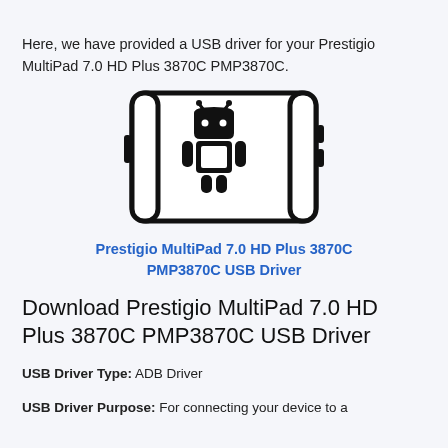Here, we have provided a USB driver for your Prestigio MultiPad 7.0 HD Plus 3870C PMP3870C.
[Figure (illustration): Illustration of a tablet (landscape orientation) with an Android robot icon in the center]
Prestigio MultiPad 7.0 HD Plus 3870C PMP3870C USB Driver
Download Prestigio MultiPad 7.0 HD Plus 3870C PMP3870C USB Driver
USB Driver Type: ADB Driver
USB Driver Purpose: For connecting your device to a